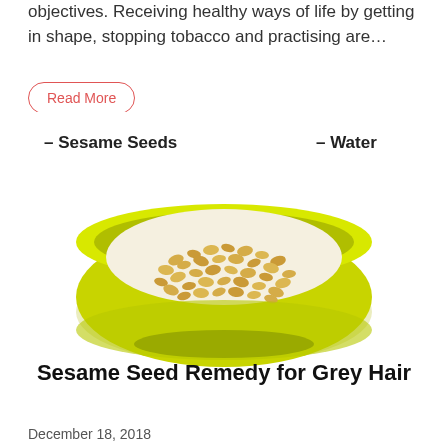objectives. Receiving healthy ways of life by getting in shape, stopping tobacco and practising are…
Read More
[Figure (photo): A yellow-green ceramic bowl filled with sesame seeds, with text labels '– Sesame Seeds' on the left and '– Water' on the right, and the title 'Sesame Seed Remedy for Grey Hair' at the bottom.]
December 18, 2018